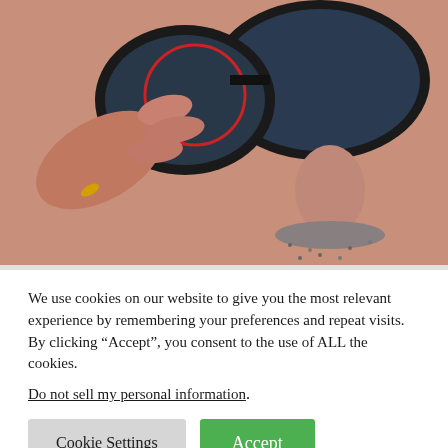[Figure (photo): Close-up photo of a person's face wearing dark sunglasses, with a hand touching/adjusting the glasses. The person has a grey mustache and stubble. A red circle annotation is visible on the glasses lens area.]
We use cookies on our website to give you the most relevant experience by remembering your preferences and repeat visits. By clicking “Accept”, you consent to the use of ALL the cookies.
Do not sell my personal information.
Cookie Settings
Accept